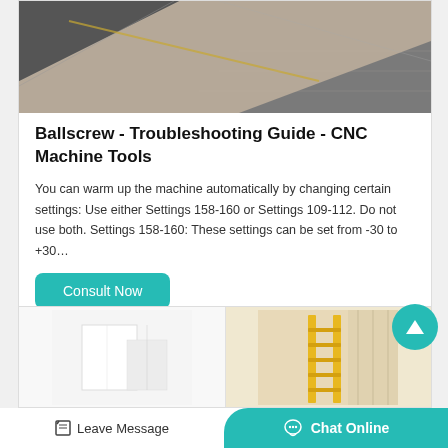[Figure (photo): Overhead photo of CNC machine surface/floor with diagonal lines and grey/tan concrete-like textures]
Ballscrew - Troubleshooting Guide - CNC Machine Tools
You can warm up the machine automatically by changing certain settings: Use either Settings 158-160 or Settings 109-112. Do not use both. Settings 158-160: These settings can be set from -30 to +30…
[Figure (photo): Two small product/reference images at the bottom of the page - one showing a white geometric shape, another showing a yellow ladder against a wall]
Leave Message   Chat Online